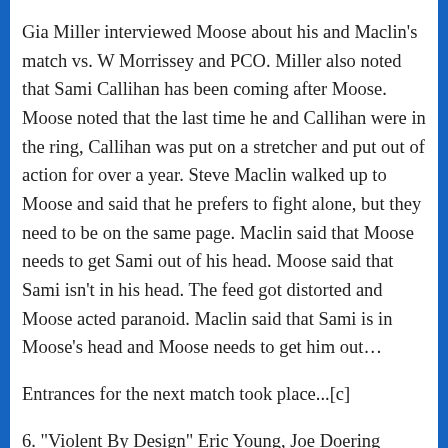Gia Miller interviewed Moose about his and Maclin's match vs. W Morrissey and PCO. Miller also noted that Sami Callihan has been coming after Moose. Moose noted that the last time he and Callihan were in the ring, Callihan was put on a stretcher and put out of action for over a year. Steve Maclin walked up to Moose and said that he prefers to fight alone, but they need to be on the same page. Maclin said that Moose needs to get Sami out of his head. Moose said that Sami isn't in his head. The feed got distorted and Moose acted paranoid. Maclin said that Sami is in Moose's head and Moose needs to get him out...
Entrances for the next match took place...[c]
6. "Violent By Design" Eric Young, Joe Doering